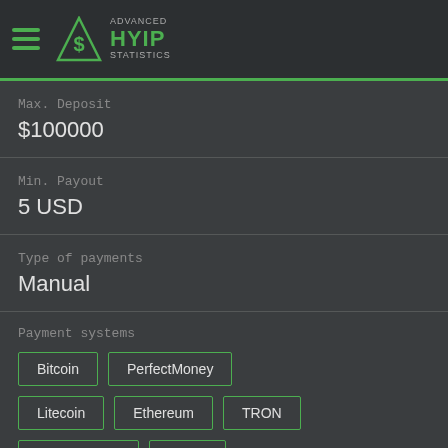Advanced HYIP Statistics
Max. Deposit
$100000
Min. Payout
5 USD
Type of payments
Manual
Payment systems
Bitcoin
PerfectMoney
Litecoin
Ethereum
TRON
Binance Coin
Tether
Technical Data